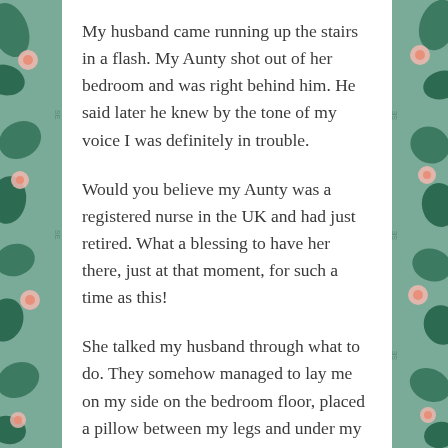My husband came running up the stairs in a flash. My Aunty shot out of her bedroom and was right behind him. He said later he knew by the tone of my voice I was definitely in trouble.
Would you believe my Aunty was a registered nurse in the UK and had just retired. What a blessing to have her there, just at that moment, for such a time as this!
She talked my husband through what to do. They somehow managed to lay me on my side on the bedroom floor, placed a pillow between my legs and under my head.
You know I can't remember feeling any pain at that